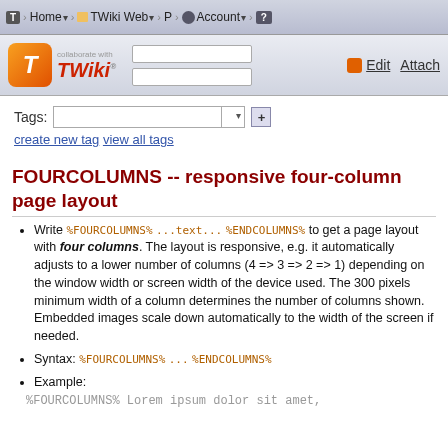T | Home | TWiki Web | P | Account | ?
[Figure (logo): TWiki logo with orange T icon and 'collaborate with TWiki' text, plus search boxes and Edit/Attach buttons]
Tags: [dropdown] [+]
create new tag   view all tags
FOURCOLUMNS -- responsive four-column page layout
Write %FOURCOLUMNS% ...text... %ENDCOLUMNS% to get a page layout with four columns. The layout is responsive, e.g. it automatically adjusts to a lower number of columns (4 => 3 => 2 => 1) depending on the window width or screen width of the device used. The 300 pixels minimum width of a column determines the number of columns shown. Embedded images scale down automatically to the width of the screen if needed.
Syntax: %FOURCOLUMNS% ... %ENDCOLUMNS%
Example:
%FOURCOLUMNS% Lorem ipsum dolor sit amet,